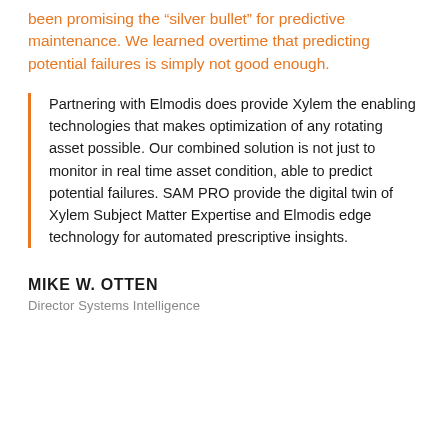been promising the "silver bullet" for predictive maintenance. We learned overtime that predicting potential failures is simply not good enough.
Partnering with Elmodis does provide Xylem the enabling technologies that makes optimization of any rotating asset possible. Our combined solution is not just to monitor in real time asset condition, able to predict potential failures. SAM PRO provide the digital twin of Xylem Subject Matter Expertise and Elmodis edge technology for automated prescriptive insights.
MIKE W. OTTEN
Director Systems Intelligence